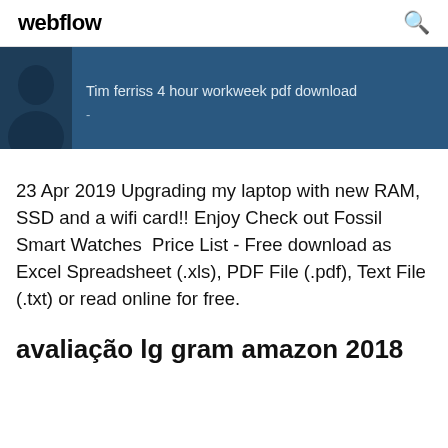webflow
[Figure (screenshot): Dark blue banner with a user avatar silhouette on the left and text 'Tim ferriss 4 hour workweek pdf download' with a dash below it]
23 Apr 2019 Upgrading my laptop with new RAM, SSD and a wifi card!! Enjoy Check out Fossil Smart Watches  Price List - Free download as Excel Spreadsheet (.xls), PDF File (.pdf), Text File (.txt) or read online for free.
avaliação lg gram amazon 2018